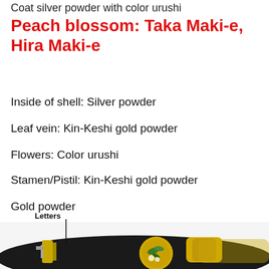Coat silver powder with color urushi
Peach blossom: Taka Maki-e, Hira Maki-e
Inside of shell: Silver powder
Leaf vein: Kin-Keshi gold powder
Flowers: Color urushi
Stamen/Pistil: Kin-Keshi gold powder
Gold powder
[Figure (photo): Close-up photo of a decorative fountain pen with black lacquer body and gold trim, featuring Maki-e artwork with peach blossom design. A label 'Letters' points with a line to part of the pen body.]